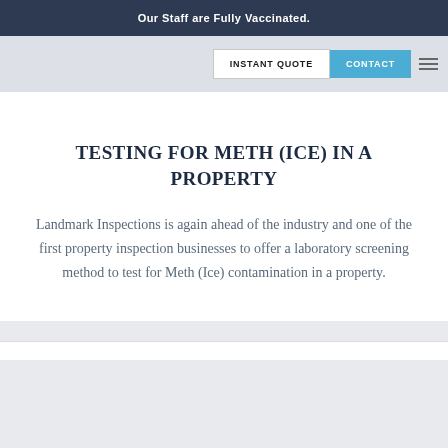Our Staff are Fully Vaccinated.
INSTANT QUOTE   CONTACT
TESTING FOR METH (ICE) IN A PROPERTY
Landmark Inspections is again ahead of the industry and one of the first property inspection businesses to offer a laboratory screening method to test for Meth (Ice) contamination in a property.